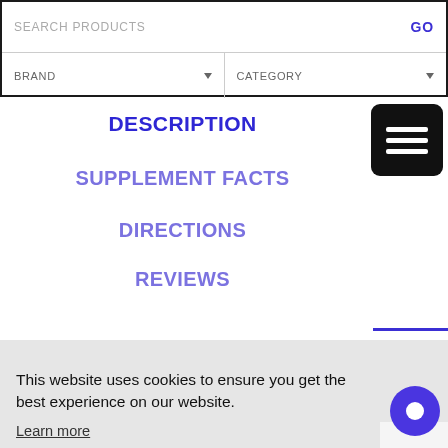SEARCH PRODUCTS | BRAND | CATEGORY | GO
DESCRIPTION
SUPPLEMENT FACTS
DIRECTIONS
REVIEWS
This website uses cookies to ensure you get the best experience on our website. Learn more
Got it!
ultimate stim crazy pre-workout – this explosive pre